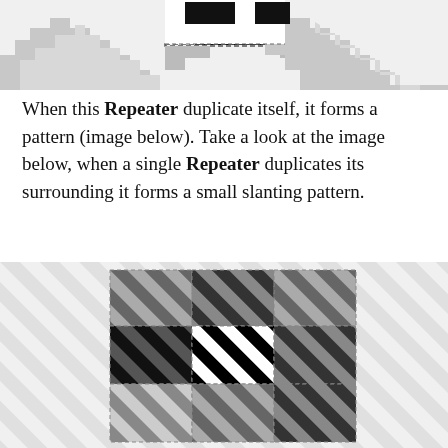[Figure (illustration): Top portion of a repeating stepped/staircase pixel pattern in black, dark gray, and light gray, partially cut off at the top of the page, with a dashed border visible on part of the pattern.]
When this Repeater duplicate itself, it forms a pattern (image below). Take a look at the image below, when a single Repeater duplicates its surrounding it forms a small slanting pattern.
[Figure (illustration): A 3x3 grid of square tiles arranged with dashed borders, each tile containing diagonal stripes in varying shades of black, dark gray, medium gray, and white, forming a slanting diagonal stripe pattern across the whole grid. The background behind the grid shows light gray diagonal stripes.]